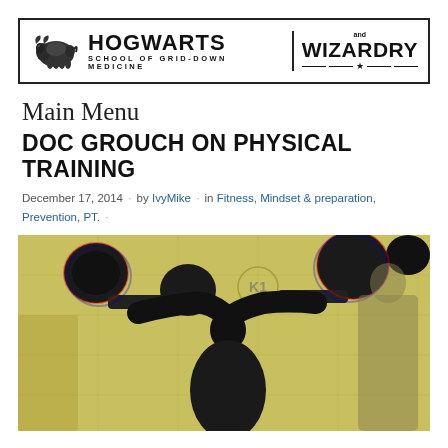HOGWARTS and WIZARDRY — SCHOOL OF GRID-DOWN MEDICINE
Main Menu
DOC GROUCH ON PHYSICAL TRAINING
December 17, 2014 · by IvyMike · in Fitness, Mindset & preparation, Prevention, PT. ·
[Figure (photo): Stylized halftone image of a person lifting heavy dumbbells overhead, with a sepia/olive-toned background featuring technical diagram overlays and the label K1.]